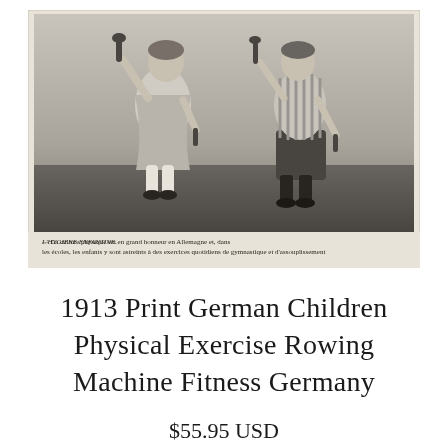[Figure (photo): Black and white historical photograph (circa 1913) showing two children performing physical exercises with clubs/dumbbells. A girl in a dress on the left and a boy in striped top and dark pants on the right. Below the photo is a French caption: 'L'HYGIENE ENFANTINE — La culture physique est en grand honneur en Allemagne et, dans les écoles, les enfants y sont astreints à des exercices quotidiens de gymnastique et d'assouplissement']
1913 Print German Children Physical Exercise Rowing Machine Fitness Germany